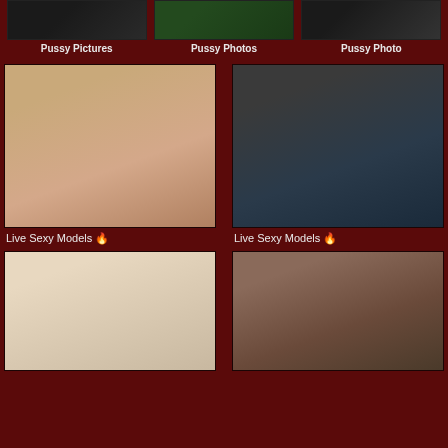[Figure (photo): Thumbnail image 1 - dark toned photo]
[Figure (photo): Thumbnail image 2 - green/dark photo]
[Figure (photo): Thumbnail image 3 - dark photo]
Pussy Pictures
Pussy Photos
Pussy Photo
[Figure (photo): Tattooed blonde woman posing indoors]
Live Sexy Models 🔥
[Figure (photo): Dark haired woman in black lingerie]
Live Sexy Models 🔥
[Figure (photo): Close up photo bottom]
[Figure (photo): Older woman seated in chair]